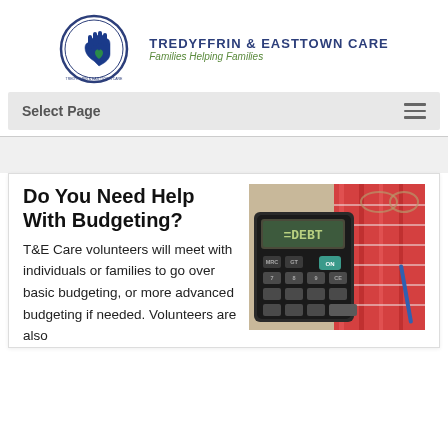[Figure (logo): Tredyffrin & Easttown Care circular logo with a blue hand and green heart, alongside text 'TREDYFFRIN & EASTTOWN CARE' and tagline 'Families Helping Families']
Select Page
Do You Need Help With Budgeting?
[Figure (photo): A calculator displaying '=DEBT' on its screen, sitting on top of financial documents and papers with red and white colors, with glasses nearby]
T&E Care volunteers will meet with individuals or families to go over basic budgeting, or more advanced budgeting if needed. Volunteers are also